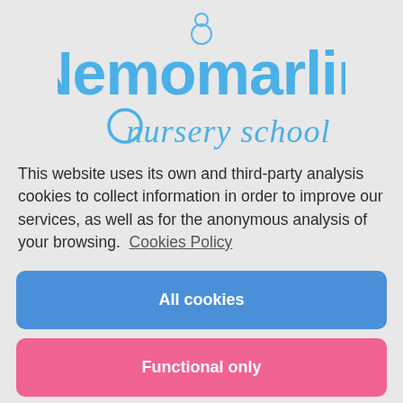[Figure (logo): Nemomarlin nursery school logo with bubble circles and blue rounded text]
This website uses its own and third-party analysis cookies to collect information in order to improve our services, as well as for the anonymous analysis of your browsing.  Cookies Policy
All cookies
Functional only
Preferences